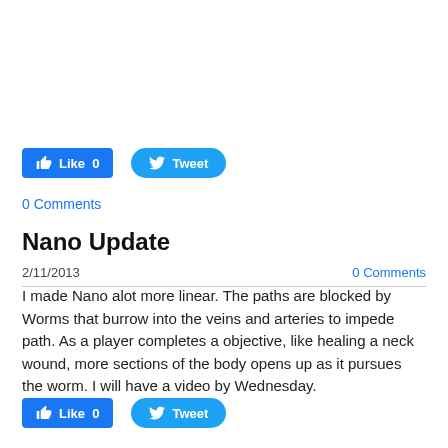[Figure (other): Facebook Like button showing count 0 and Twitter Tweet button]
0 Comments
Nano Update
2/11/2013    0 Comments
I made Nano alot more linear. The paths are blocked by Worms that burrow into the veins and arteries to impede path. As a player completes a objective, like healing a neck wound, more sections of the body opens up as it pursues the worm. I will have a video by Wednesday.
[Figure (other): Facebook Like button showing count 0 and Twitter Tweet button]